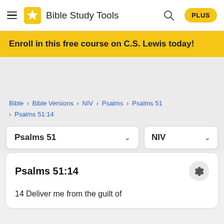Bible Study Tools PLUS
Enroll in this free course on C.S. Lewis today!
Bible > Bible Versions > NIV > Psalms > Psalms 51 > Psalms 51:14
Psalms 51 ∨  NIV ∨
Psalms 51:14
14 Deliver me from the guilt of